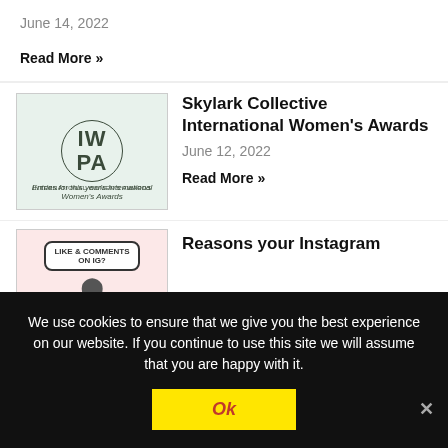June 14, 2022
Read More »
[Figure (logo): IWPA circular logo with text 'INTERNATIONAL WOMEN'S AWARDS' and tagline 'Entries for this year's International Women's Awards']
Skylark Collective International Women's Awards
June 12, 2022
Read More »
[Figure (illustration): Pink speech bubble graphic with text 'LIKE & COMMENTS ON IG?']
Reasons your Instagram
We use cookies to ensure that we give you the best experience on our website. If you continue to use this site we will assume that you are happy with it.
Ok